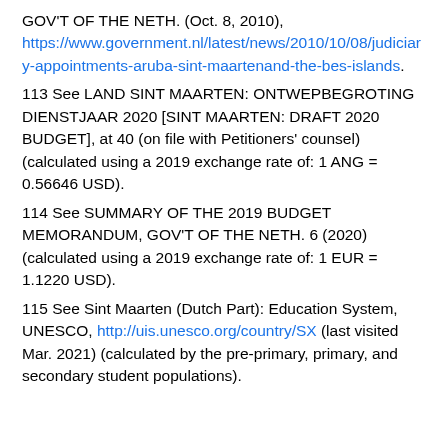GOV'T OF THE NETH. (Oct. 8, 2010), https://www.government.nl/latest/news/2010/10/08/judiciary-appointments-aruba-sint-maartenand-the-bes-islands.
113 See LAND SINT MAARTEN: ONTWEPBEGROTING DIENSTJAAR 2020 [SINT MAARTEN: DRAFT 2020 BUDGET], at 40 (on file with Petitioners' counsel) (calculated using a 2019 exchange rate of: 1 ANG = 0.56646 USD).
114 See SUMMARY OF THE 2019 BUDGET MEMORANDUM, GOV'T OF THE NETH. 6 (2020) (calculated using a 2019 exchange rate of: 1 EUR = 1.1220 USD).
115 See Sint Maarten (Dutch Part): Education System, UNESCO, http://uis.unesco.org/country/SX (last visited Mar. 2021) (calculated by the pre-primary, primary, and secondary student populations).